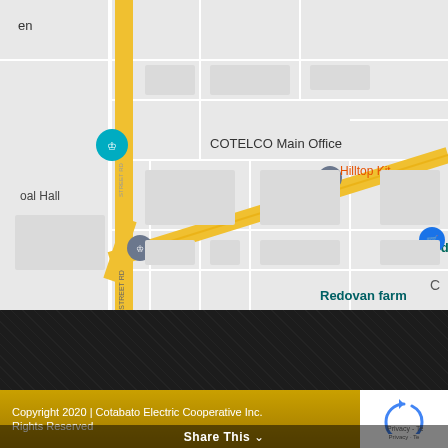[Figure (map): Google Maps screenshot showing area around COTELCO Main Office in Cotabato. Visible landmarks include a teal location pin for COTELCO Main Office, a gray pin for United Pentecostal Church Philippines Inc, a blue shopping pin for Iedessa V Store, text labels for 'Hilltop Kit', 'Redovan farm', 'oal Hall', and 'en'. A yellow/orange road runs diagonally through the map. A vertical road labeled 'RD' runs along the left side.]
Copyright 2020 | Cotabato Electric Cooperative Inc.
Rights Reserved
Share This